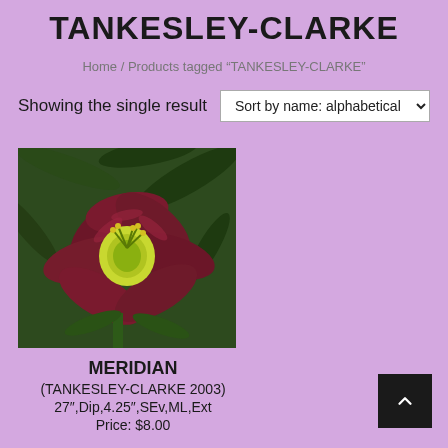TANKESLEY-CLARKE
Home / Products tagged “TANKESLEY-CLARKE”
Showing the single result
[Figure (photo): A dark red/maroon daylily flower with yellow-green center, photographed outdoors with green foliage in background]
MERIDIAN
(TANKESLEY-CLARKE 2003)
27″,Dip,4.25″,SEv,ML,Ext
Price: $8.00